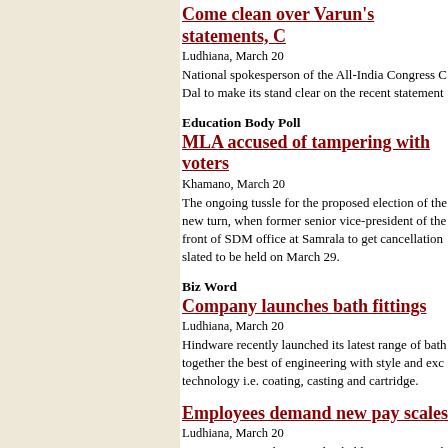Come clean over Varun's statements, C
Ludhiana, March 20
National spokesperson of the All-India Congress C Dal to make its stand clear on the recent statement
Education Body Poll
MLA accused of tampering with voters
Khamano, March 20
The ongoing tussle for the proposed election of the new turn, when former senior vice-president of the front of SDM office at Samrala to get cancellation slated to be held on March 29.
Biz Word
Company launches bath fittings
Ludhiana, March 20
Hindware recently launched its latest range of bath together the best of engineering with style and exc technology i.e. coating, casting and cartridge.
Employees demand new pay scales
Ludhiana, March 20
Government employees today held a protest march Federation (PSSF), followed by a rally at Mini Sec revised pay scales with retrospective effect (from J Pay Commission.
Arogya-2009 fair begins